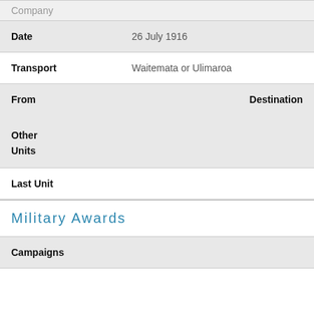| Company |  |
| Date | 26 July 1916 |
| Transport | Waitemata or Ulimaroa |
| From | Destination |
| Other Units / Last Unit |  |
Military Awards
| Campaigns |  |